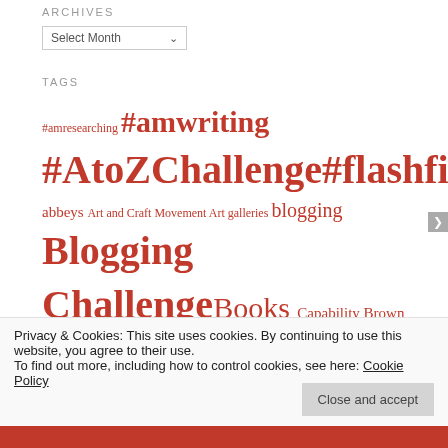ARCHIVES
Select Month
TAGS
#amresearching #amwriting #AtoZChallenge #flashfiction abbeys Art and Craft Movement Art galleries blogging Blogging Challenge Books Capability Brown Carreg Cennen Castle castles Cathedrals childhood Children Cistercian creativity dialogue Dunstanburgh Castle English Civil War expectations famous gardeners Fiction Film locations flash fictioneers Flute Friday Fictioneers Garden designers gardening Gardens Ghosts ghost story Great
Privacy & Cookies: This site uses cookies. By continuing to use this website, you agree to their use.
To find out more, including how to control cookies, see here: Cookie Policy
Close and accept